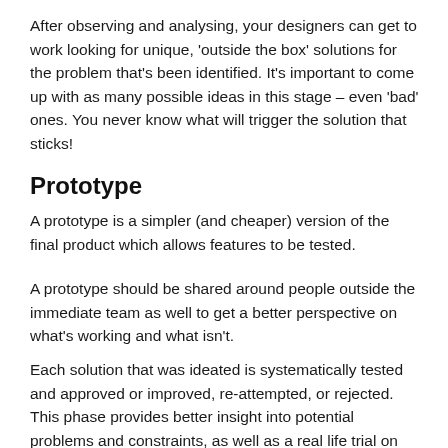After observing and analysing, your designers can get to work looking for unique, 'outside the box' solutions for the problem that's been identified. It's important to come up with as many possible ideas in this stage – even 'bad' ones. You never know what will trigger the solution that sticks!
Prototype
A prototype is a simpler (and cheaper) version of the final product which allows features to be tested.
A prototype should be shared around people outside the immediate team as well to get a better perspective on what's working and what isn't.
Each solution that was ideated is systematically tested and approved or improved, re-attempted, or rejected. This phase provides better insight into potential problems and constraints, as well as a real life trial on how people would respond to and interact...